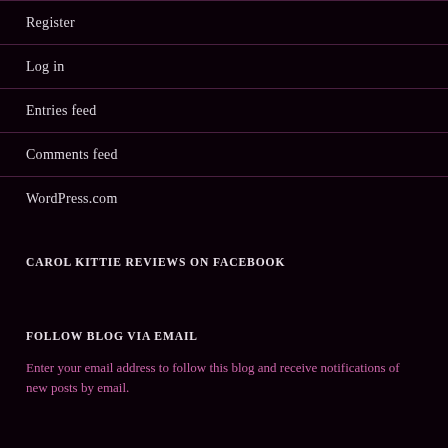Register
Log in
Entries feed
Comments feed
WordPress.com
CAROL KITTIE REVIEWS ON FACEBOOK
FOLLOW BLOG VIA EMAIL
Enter your email address to follow this blog and receive notifications of new posts by email.